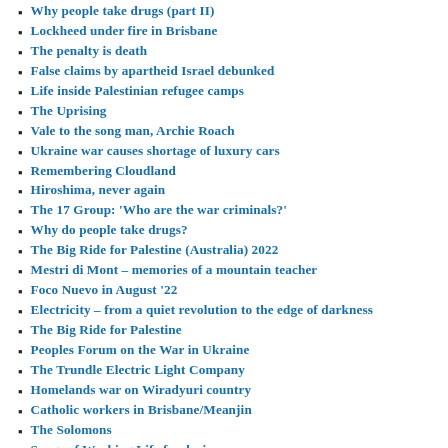Why people take drugs (part II)
Lockheed under fire in Brisbane
The penalty is death
False claims by apartheid Israel debunked
Life inside Palestinian refugee camps
The Uprising
Vale to the song man, Archie Roach
Ukraine war causes shortage of luxury cars
Remembering Cloudland
Hiroshima, never again
The 17 Group: 'Who are the war criminals?'
Why do people take drugs?
The Big Ride for Palestine (Australia) 2022
Mestri di Mont – memories of a mountain teacher
Foco Nuevo in August '22
Electricity – from a quiet revolution to the edge of darkness
The Big Ride for Palestine
Peoples Forum on the War in Ukraine
The Trundle Electric Light Company
Homelands war on Wiradyuri country
Catholic workers in Brisbane/Meanjin
The Solomons
Songs of Working Life fundraiser